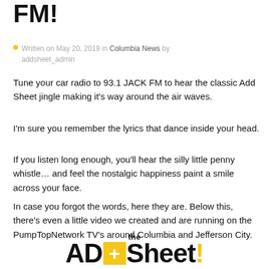FM!
Written on May 20, 2019 in Columbia News by addsheet_admin
Tune your car radio to 93.1 JACK FM to hear the classic Add Sheet jingle making it's way around the air waves.
I'm sure you remember the lyrics that dance inside your head.
If you listen long enough, you'll hear the silly little penny whistle… and feel the nostalgic happiness paint a smile across your face.
In case you forgot the words, here they are. Below this, there's even a little video we created and are running on the PumpTopNetwork TV's around Columbia and Jefferson City.
[Figure (logo): The Add Sheet logo: 'the' above 'AD' with a yellow plus-sign box then 'Sheet!' with a yellow exclamation mark]